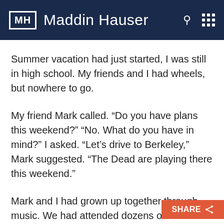MH Maddin Hauser
Summer vacation had just started, I was still in high school. My friends and I had wheels, but nowhere to go.
My friend Mark called. “Do you have plans this weekend?” “No. What do you have in mind?” I asked. “Let’s drive to Berkeley,” Mark suggested. “The Dead are playing there this weekend.”
Mark and I had grown up together through music. We had attended dozens of concerts together, listened to albums together, traded tapes. But I didn’t r…